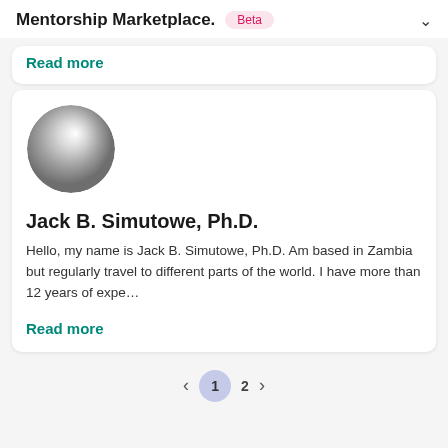Mentorship Marketplace . Beta
Read more
[Figure (photo): Blurred circular avatar photo with grey gradient]
Jack B. Simutowe, Ph.D.
Hello, my name is Jack B. Simutowe, Ph.D. Am based in Zambia but regularly travel to different parts of the world. I have more than 12 years of expe…
Read more
< 1 2 >